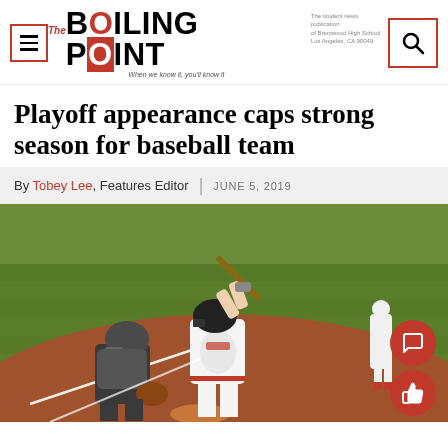The Boiling Point — The student news publication of Brentwood High School, Los Angeles, CA
Playoff appearance caps strong season for baseball team
By Tobey Lee, Features Editor | JUNE 5, 2019
[Figure (photo): A baseball batter in white uniform swinging at a pitch, with a catcher in dark uniform crouching behind home plate, on a baseball field with red clay and green grass.]